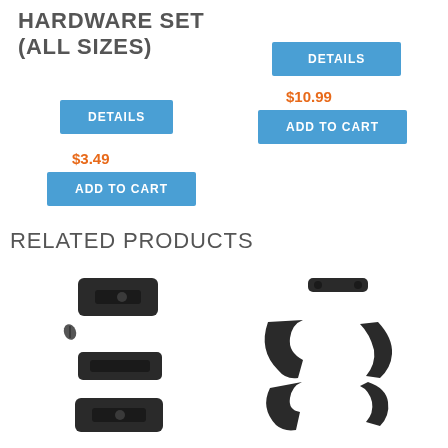HARDWARE SET (ALL SIZES)
DETAILS
$3.49
ADD TO CART
DETAILS
$10.99
ADD TO CART
RELATED PRODUCTS
[Figure (photo): Black plastic hardware set pieces — brackets and screws]
[Figure (photo): Black plastic hardware set pieces — clips and fasteners]